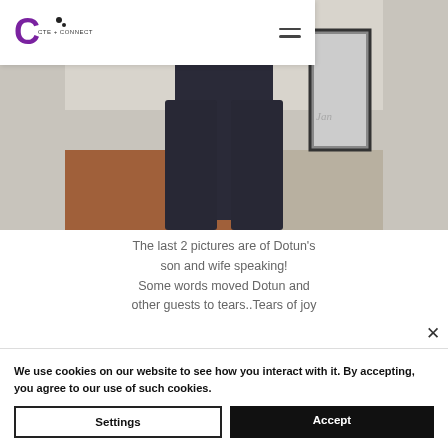[Figure (photo): Navigation bar with a circular logo reading 'CTE Connect' and a hamburger menu icon on the right side, overlaid on a photo of dark trousers/pants worn by a person standing in front of a wall]
[Figure (photo): Photo of dark wide-leg trousers or pants, shot from waist down, person standing indoors with a brick-like wall and a framed artwork in the background]
The last 2 pictures are of Dotun's son and wife speaking! Some words moved Dotun and other guests to tears..Tears of joy
We use cookies on our website to see how you interact with it. By accepting, you agree to our use of such cookies.
Settings
Accept